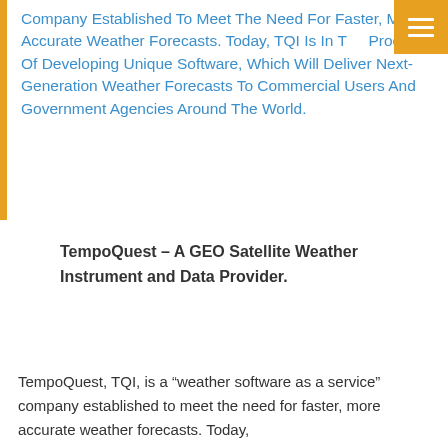Company Established To Meet The Need For Faster, More Accurate Weather Forecasts. Today, TQI Is In The Process Of Developing Unique Software, Which Will Deliver Next-Generation Weather Forecasts To Commercial Users And Government Agencies Around The World.
TempoQuest – A GEO Satellite Weather Instrument and Data Provider.
TempoQuest, TQI, is a “weather software as a service” company established to meet the need for faster, more accurate weather forecasts. Today,